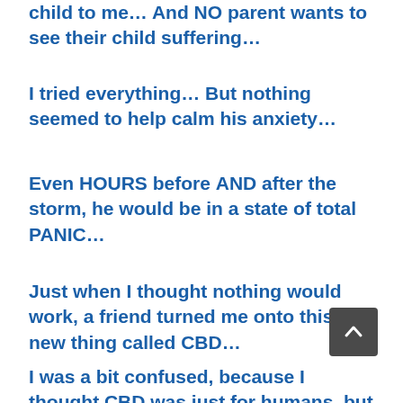child to me… And NO parent wants to see their child suffering…
I tried everything… But nothing seemed to help calm his anxiety…
Even HOURS before AND after the storm, he would be in a state of total PANIC…
Just when I thought nothing would work, a friend turned me onto this new thing called CBD…
I was a bit confused, because I thought CBD was just for humans, but my friend assured me it was safe AND